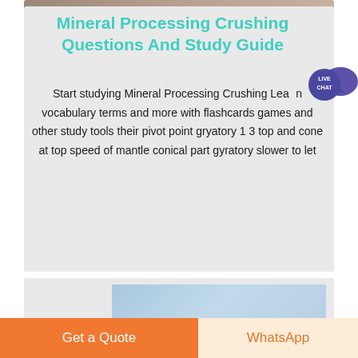[Figure (photo): Top portion of a photo visible at the top of the card]
Mineral Processing Crushing Questions And Study Guide
[Figure (illustration): Live Chat speech bubble badge with dark blue/purple circle and chat bubble icon, text: LIVE CHAT]
Start studying Mineral Processing Crushing Learn vocabulary terms and more with flashcards games and other study tools their pivot point gryatory 1 3 top and cone at top speed of mantle conical part gyratory slower to let
[Figure (photo): Partial photo visible at the bottom of the page in a second card]
Get a Quote
WhatsApp